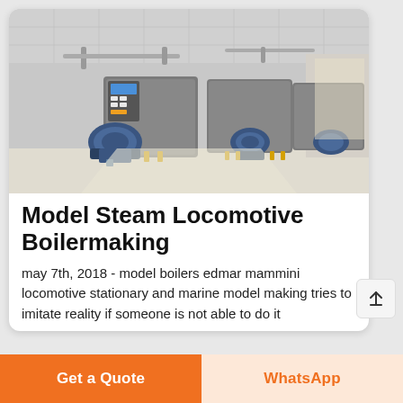[Figure (photo): Industrial steam boiler room with three large boiler units with blue burner attachments and control panels, pipes running along ceiling, clean white floors.]
Model Steam Locomotive Boilermaking
may 7th, 2018 - model boilers edmar mammini locomotive stationary and marine model making tries to imitate reality if someone is not able to do it